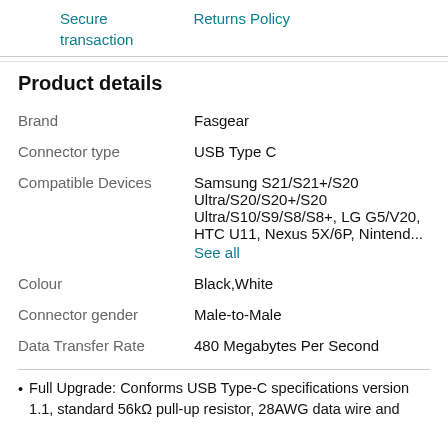Secure transaction   Returns Policy
Product details
| Attribute | Value |
| --- | --- |
| Brand | Fasgear |
| Connector type | USB Type C |
| Compatible Devices | Samsung S21/S21+/S20 Ultra/S20/S20+/S20 Ultra/S10/S9/S8/S8+, LG G5/V20, HTC U11, Nexus 5X/6P, Nintend... See all |
| Colour | Black,White |
| Connector gender | Male-to-Male |
| Data Transfer Rate | 480 Megabytes Per Second |
Full Upgrade: Conforms USB Type-C specifications version 1.1, standard 56kΩ pull-up resistor, 28AWG data wire and